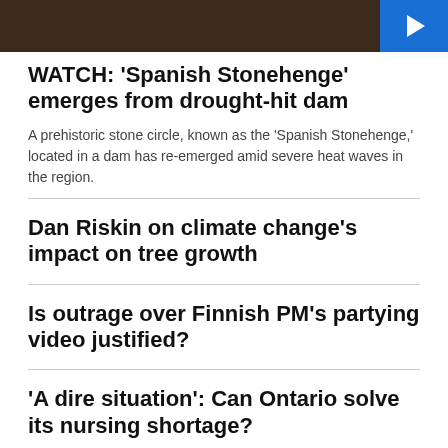[Figure (photo): Dark brown rocky/textured background image at top of page with blue play button overlay in top right corner]
WATCH: 'Spanish Stonehenge' emerges from drought-hit dam
A prehistoric stone circle, known as the 'Spanish Stonehenge,' located in a dam has re-emerged amid severe heat waves in the region.
Dan Riskin on climate change's impact on tree growth
Is outrage over Finnish PM's partying video justified?
'A dire situation': Can Ontario solve its nursing shortage?
WATCH: Massive 'flower carpet' artwork displayed in Brussels